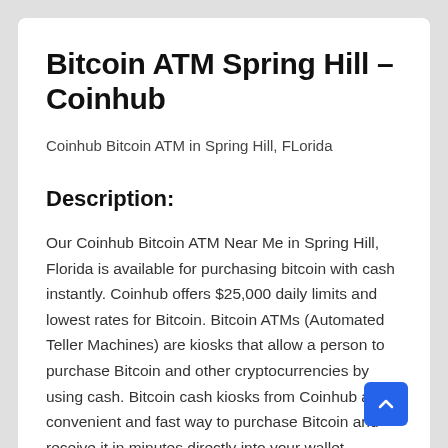Bitcoin ATM Spring Hill – Coinhub
Coinhub Bitcoin ATM in Spring Hill, FLorida
Description:
Our Coinhub Bitcoin ATM Near Me in Spring Hill, Florida is available for purchasing bitcoin with cash instantly. Coinhub offers $25,000 daily limits and lowest rates for Bitcoin. Bitcoin ATMs (Automated Teller Machines) are kiosks that allow a person to purchase Bitcoin and other cryptocurrencies by using cash. Bitcoin cash kiosks from Coinhub are a convenient and fast way to purchase Bitcoin and receive it in minutes directly into your wallet. Coinhub Bitcoin machines are easy to use